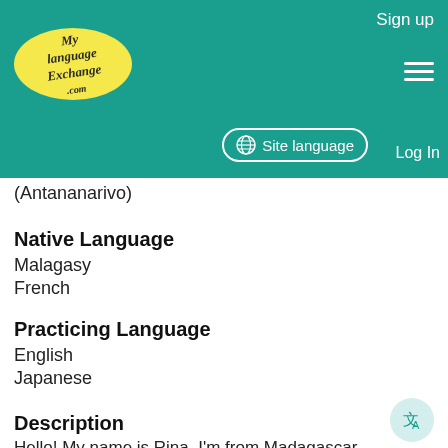Sign up | Site language | Log In | MyLanguageExchange.com
(Antananarivo)
Native Language
Malagasy
French
Practicing Language
English
Japanese
Description
Hello! My name is Rina. I'm from Madagascar. My mother tongue is Malagasy and I'm fluent in French too. I want to improve my English and I can help those who might want to learn/practice Malagasy and French.☺️ We can help each other by talking about our interests, cultures... ☺️